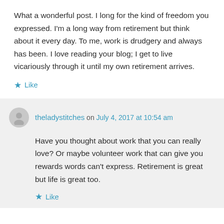What a wonderful post. I long for the kind of freedom you expressed. I'm a long way from retirement but think about it every day. To me, work is drudgery and always has been. I love reading your blog; I get to live vicariously through it until my own retirement arrives.
★ Like
theladystitches on July 4, 2017 at 10:54 am
Have you thought about work that you can really love? Or maybe volunteer work that can give you rewards words can't express. Retirement is great but life is great too.
★ Like